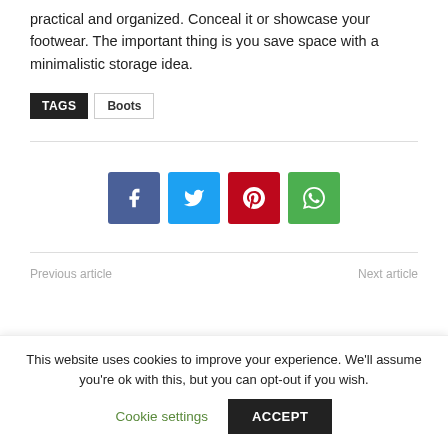practical and organized. Conceal it or showcase your footwear. The important thing is you save space with a minimalistic storage idea.
TAGS  Boots
[Figure (infographic): Social sharing buttons: Facebook (blue), Twitter (light blue), Pinterest (red), WhatsApp (green)]
Previous article ... Next article ...
This website uses cookies to improve your experience. We'll assume you're ok with this, but you can opt-out if you wish.
Cookie settings  ACCEPT